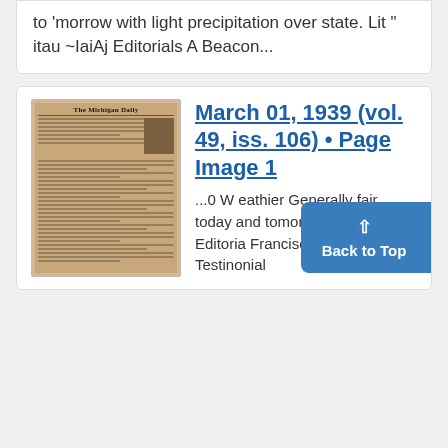to 'morrow with light precipitation over state. Lit " itau ~IaiAj Editorials A Beacon...
[Figure (photo): Thumbnail image of The Michigan Daily newspaper front page]
March 01, 1939 (vol. 49, iss. 106) • Page Image 1
...0 W eathier Generally fair today and tomorraw l 2 Sir h lait Editoria Francisco, 'W NOW? Testinonial